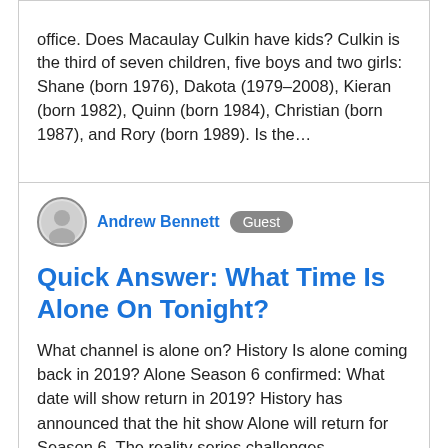office. Does Macaulay Culkin have kids? Culkin is the third of seven children, five boys and two girls: Shane (born 1976), Dakota (1979–2008), Kieran (born 1982), Quinn (born 1984), Christian (born 1987), and Rory (born 1989). Is the…
Andrew Bennett  Guest
Quick Answer: What Time Is Alone On Tonight?
What channel is alone on? History Is alone coming back in 2019? Alone Season 6 confirmed: What date will show return in 2019? History has announced that the hit show Alone will return for Season 6. The reality series challenges contestants to document themselves as they try to survive the wilderness for as long as possible with